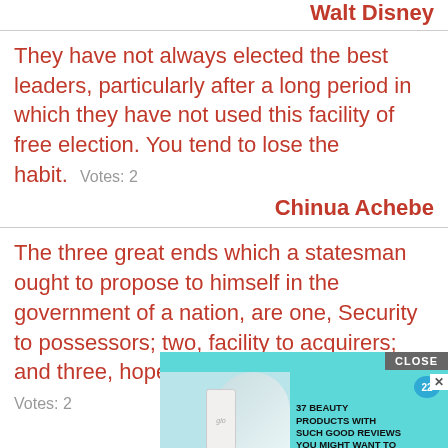Walt Disney
They have not always elected the best leaders, particularly after a long period in which they have not used this facility of free election. You tend to lose the habit.  Votes: 2
Chinua Achebe
The three great ends which a statesman ought to propose to himself in the government of a nation, are one, Security to possessors; two, facility to acquirers; and three, hope to all.
Votes: 2
[Figure (other): Advertisement banner with CLOSE button, showing beauty product image and text: 37 BEAUTY PRODUCTS WITH SUCH GOOD REVIEWS YOU MIGHT WANT TO TRY THEM YOURSELF, with a badge showing 22]
eridge